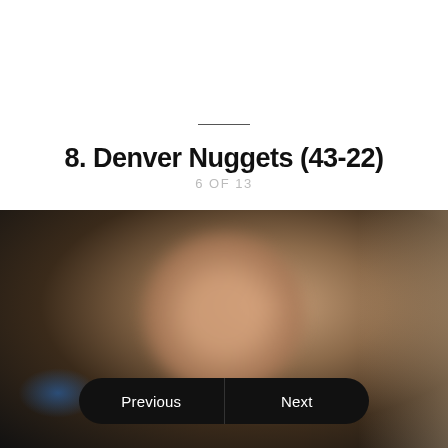8. Denver Nuggets (43-22)
6 OF 13
[Figure (photo): Blurred photo of a basketball player, dark background with skin tones visible in center, blue glow on left side, partial view cropped at bottom of page]
Previous
Next